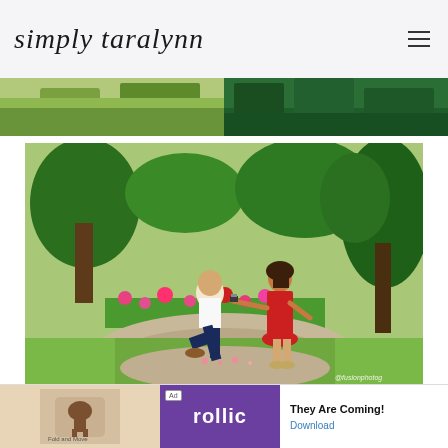simply taralynn
[Figure (photo): Top strip showing two outdoor/garden photos side by side — left shows grass/ground, right shows tropical green foliage]
[Figure (photo): Engagement proposal photo: man kneeling on one knee proposing to woman in red dress in a garden with colorful flowers and green trees. Watermark: @fusionphotog]
[Figure (other): Advertisement banner: Ad badge, Rollic game app icon, purple Rollic logo box, text 'They Are Coming!' and 'Download' link]